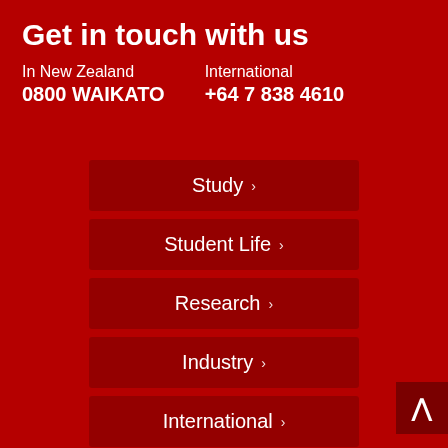Get in touch with us
In New Zealand
0800 WAIKATO
International
+64 7 838 4610
Study
Student Life
Research
Industry
International
About Us